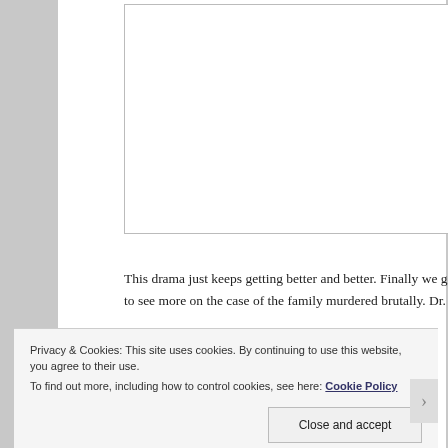[Figure (photo): White rectangular image placeholder box with light grey border, representing an embedded image or video in an article page.]
This drama just keeps getting better and better. Finally we get to see more on the case of the family murdered brutally. Dr.
Privacy & Cookies: This site uses cookies. By continuing to use this website, you agree to their use.
To find out more, including how to control cookies, see here: Cookie Policy
Close and accept